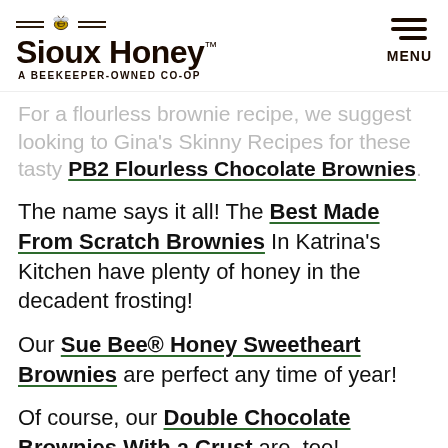Sioux Honey™ A BEEKEEPER-OWNED CO-OP | MENU
For a flourless brownie recipe, we suggest looking to Gina's Skinny Recipes for these tasty PB2 Flourless Chocolate Brownies.
The name says it all! The Best Made From Scratch Brownies In Katrina's Kitchen have plenty of honey in the decadent frosting!
Our Sue Bee® Honey Sweetheart Brownies are perfect any time of year!
Of course, our Double Chocolate Brownies With a Crust are, too!
Finally, these Peanut Butter Honey